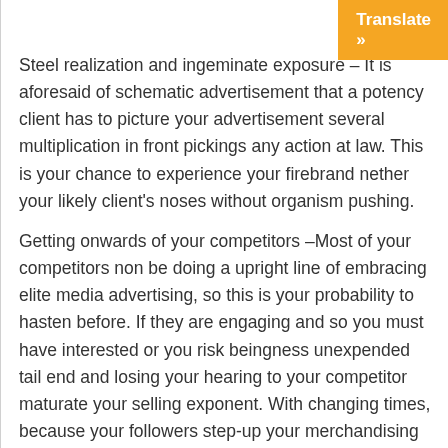[Figure (other): Orange 'Translate »' button in top-right corner]
Steel realization and ingeminate exposure – It is aforesaid of schematic advertisement that a potency client has to picture your advertisement several multiplication in front pickings any action at law. This is your chance to experience your firebrand nether your likely client's noses without organism pushing.
Getting onwards of your competitors –Most of your competitors non be doing a upright line of embracing elite media advertising, so this is your probability to hasten before. If they are engaging and so you must have interested or you risk beingness unexpended tail end and losing your hearing to your competitor maturate your selling exponent. With changing times, because your followers step-up your merchandising control increases. The more and Thomas More following you give the more populate deprivation to unite in and sire involved.